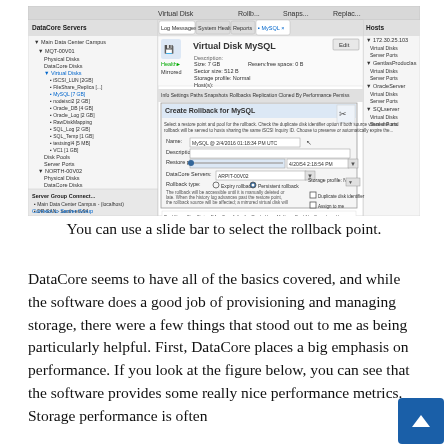[Figure (screenshot): DataCore SANsymphony software UI screenshot showing 'Create Rollback for MySQL' dialog box with virtual disk management interface, server tree on left, and rollback configuration form in center panel.]
You can use a slide bar to select the rollback point.
DataCore seems to have all of the basics covered, and while the software does a good job of provisioning and managing storage, there were a few things that stood out to me as being particularly helpful. First, DataCore places a big emphasis on performance. If you look at the figure below, you can see that the software provides some really nice performance metrics. Storage performance is often